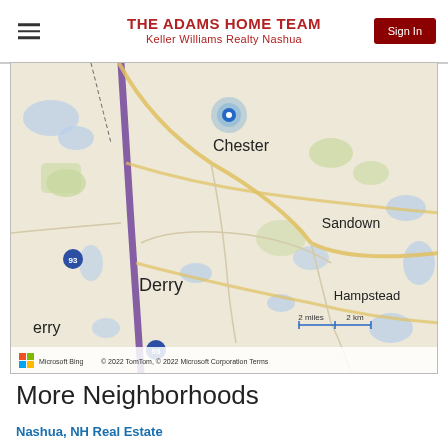THE ADAMS HOME TEAM
Keller Williams Realty Nashua
[Figure (map): Bing map showing the Chester, Derry, Sandown, and Hampstead area in New Hampshire. A blue location marker is shown near Chester. Interstate 93 runs vertically on the left side. Map includes scale bar (2 miles / 2 km) and attribution: © 2022 TomTom, © 2022 Microsoft Corporation, Terms, Microsoft Bing logo.]
More Neighborhoods
Nashua, NH Real Estate